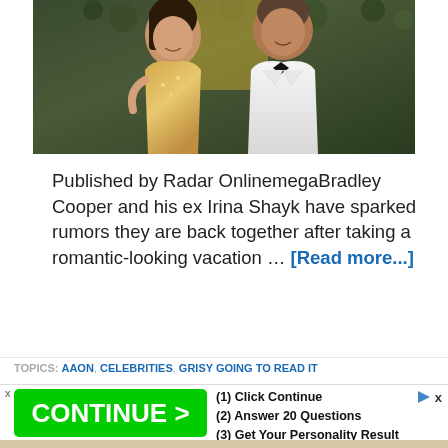[Figure (photo): Bradley Cooper and Irina Shayk posing together at an event; she wears a gold sequined dress, he wears a white tuxedo with black bow tie, green hedge backdrop]
Published by Radar OnlinemegaBradley Cooper and his ex Irina Shayk have sparked rumors they are back together after taking a romantic-looking vacation … [Read more...]
TOPICS: AAON, CELEBRITIES, GRISY GOING TO READ IT
[Figure (screenshot): Advertisement banner: green CONTINUE > button on left, steps (1) Click Continue (2) Answer 20 Questions (3) Get Your Personality Result on right, with x close button and play/skip icons]